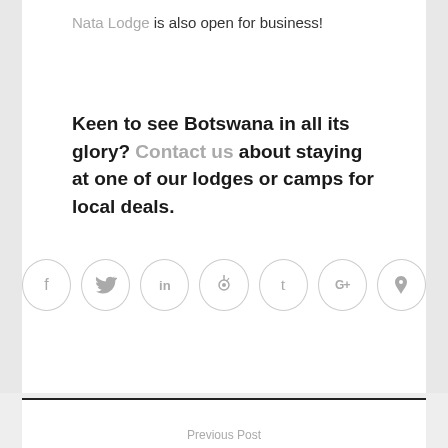Nata Lodge is also open for business!
Keen to see Botswana in all its glory? Contact us about staying at one of our lodges or camps for local deals.
[Figure (infographic): Row of 7 circular social media icon buttons: Facebook (f), Twitter (bird), LinkedIn (in), Reddit (alien), Tumblr (t), Google+ (G+), Pinterest (P)]
Previous Post